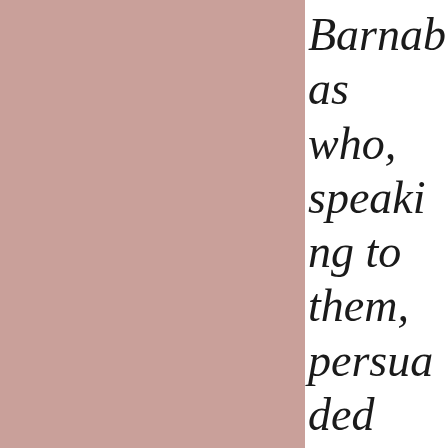[Figure (illustration): Solid dusty rose / muted pink rectangular panel occupying the left portion of the page]
Barnabas who, speaking to them, persuaded them to continue in the grace of God.”